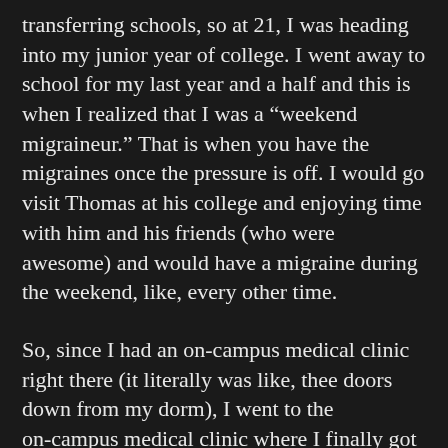transferring schools, so at 21, I was heading into my junior year of college. I went away to school for my last year and a half and this is when I realized that I was a “weekend migraineur.” That is when you have the migraines once the pressure is off. I would go visit Thomas at his college and enjoying time with him and his friends (who were awesome) and would have a migraine during the weekend, like, every other time.
So, since I had an on-campus medical clinic right there (it literally was like, thee doors down from my dorm), I went to the on-campus medical clinic where I finally got an official diagnosis of migraines. I also got a prescription